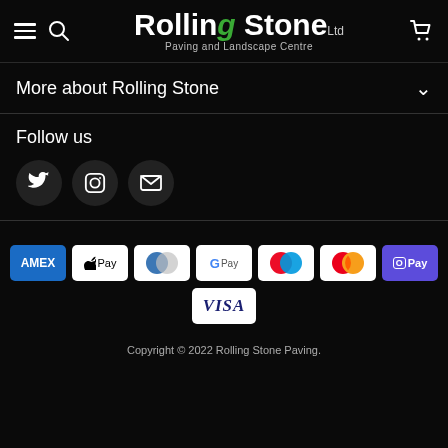[Figure (logo): Rolling Stone Ltd Paving and Landscape Centre logo with hamburger menu, search icon, and cart icon in a black header bar]
More about Rolling Stone
Follow us
[Figure (infographic): Social media icons: Twitter bird, Instagram camera, and email envelope, each in a dark circle]
[Figure (infographic): Payment method icons: AMEX, Apple Pay, Diners Club, Google Pay, Mastercard (two variants), Shop Pay, Visa]
Copyright © 2022 Rolling Stone Paving.